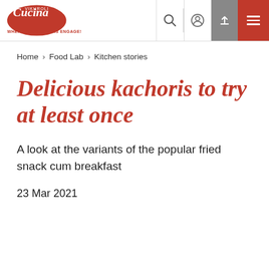Vikhroli Cucina – WHERE FOOD LOVERS ENGAGE!
Home > Food Lab > Kitchen stories
Delicious kachoris to try at least once
A look at the variants of the popular fried snack cum breakfast
23 Mar 2021